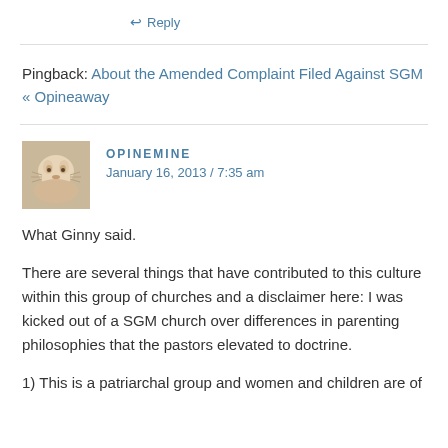↩ Reply
Pingback: About the Amended Complaint Filed Against SGM « Opineaway
OPINEMINE
January 16, 2013 / 7:35 am
What Ginny said.
There are several things that have contributed to this culture within this group of churches and a disclaimer here: I was kicked out of a SGM church over differences in parenting philosophies that the pastors elevated to doctrine.
1) This is a patriarchal group and women and children are of